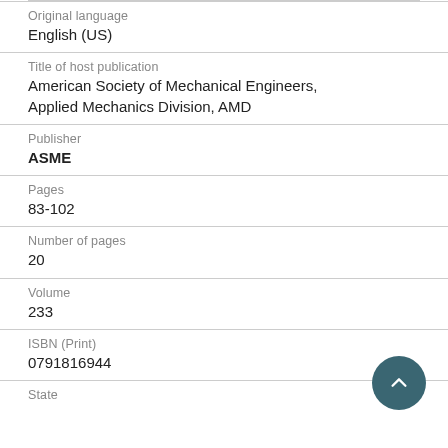Original language
English (US)
Title of host publication
American Society of Mechanical Engineers, Applied Mechanics Division, AMD
Publisher
ASME
Pages
83-102
Number of pages
20
Volume
233
ISBN (Print)
0791816944
State